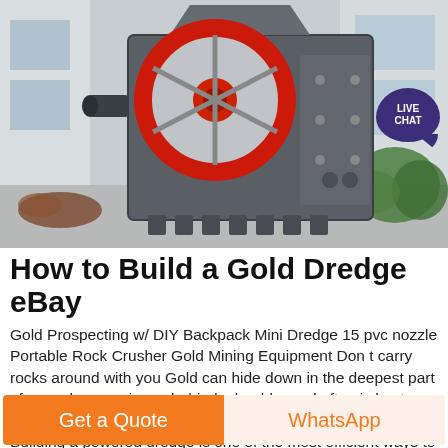[Figure (photo): Industrial jaw crusher / rock crushing machine, large grey metal equipment with red flywheel, photographed outdoors at a manufacturing facility. A 'LIVE CHAT' badge overlay appears in upper right corner.]
How to Build a Gold Dredge eBay
Gold Prospecting w/ DIY Backpack Mini Dredge 15 pvc nozzle Portable Rock Crusher Gold Mining Equipment Don t carry rocks around with you Gold can hide down in the deepest part of a crack or crevice or behind a boulder and often is best reached with a hand dredge also called a sucker gun or Building a powered dredge is one of the most efficient ways to rapidly sift through